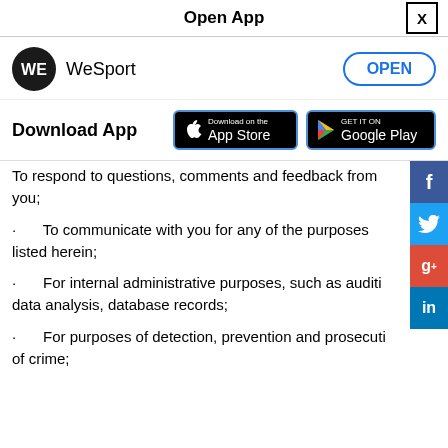Open App
[Figure (logo): WeSport logo with OPEN button]
[Figure (infographic): Download App section with App Store and Google Play buttons]
To respond to questions, comments and feedback from you;
To communicate with you for any of the purposes listed herein;
For internal administrative purposes, such as auditing, data analysis, database records;
For purposes of detection, prevention and prosecution of crime;